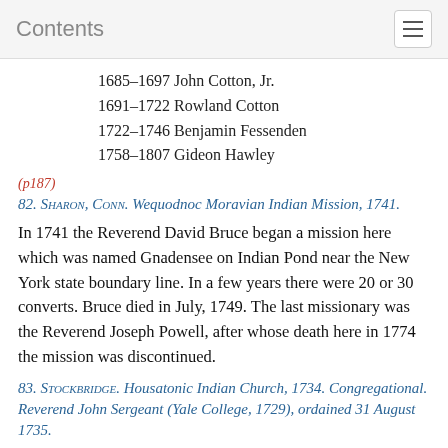Contents
1685–1697 John Cotton, Jr.
1691–1722 Rowland Cotton
1722–1746 Benjamin Fessenden
1758–1807 Gideon Hawley
(p187)
82. Sharon, Conn. Wequodnoc Moravian Indian Mission, 1741.
In 1741 the Reverend David Bruce began a mission here which was named Gnadensee on Indian Pond near the New York state boundary line. In a few years there were 20 or 30 converts. Bruce died in July, 1749. The last missionary was the Reverend Joseph Powell, after whose death here in 1774 the mission was discontinued.
83. Stockbridge. Housatonic Indian Church, 1734. Congregational. Reverend John Sergeant (Yale College, 1729), ordained 31 August 1735.